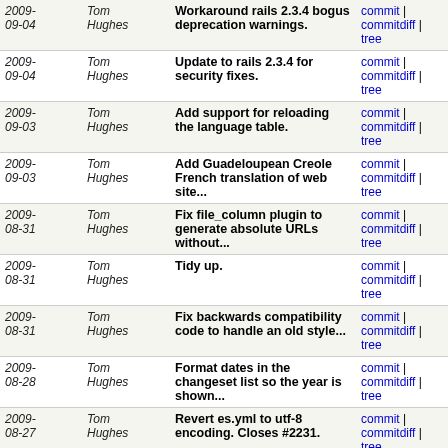| Date | Author | Message | Links |
| --- | --- | --- | --- |
| 2009-09-04 | Tom Hughes | Workaround rails 2.3.4 bogus deprecation warnings. | commit | commitdiff | tree |
| 2009-09-04 | Tom Hughes | Update to rails 2.3.4 for security fixes. | commit | commitdiff | tree |
| 2009-09-03 | Tom Hughes | Add support for reloading the language table. | commit | commitdiff | tree |
| 2009-09-03 | Tom Hughes | Add Guadeloupean Creole French translation of web site... | commit | commitdiff | tree |
| 2009-08-31 | Tom Hughes | Fix file_column plugin to generate absolute URLs without... | commit | commitdiff | tree |
| 2009-08-31 | Tom Hughes | Tidy up. | commit | commitdiff | tree |
| 2009-08-31 | Tom Hughes | Fix backwards compatibility code to handle an old style... | commit | commitdiff | tree |
| 2009-08-28 | Tom Hughes | Format dates in the changeset list so the year is shown... | commit | commitdiff | tree |
| 2009-08-27 | Tom Hughes | Revert es.yml to utf-8 encoding. Closes #2231. | commit | commitdiff | tree |
| 2009-08-27 | Tom Hughes | Wrap tile numbers at the international dateline. Closes... | commit | commitdiff | tree |
| 2009-08-19 | Tom Hughes | Commit resource changes from r17160. | commit | commitdiff | tree |
| 2009-08-19 | Tom Hughes | Remove debugging. | commit | commitdiff | tree |
| 2009-08-19 | Tom Hughes | Cleanup some of the oauth stuff: | commit | commitdiff | tree |
| 2009- | Tom | Call the set  locale filter for oauth | commit | commitdiff | |